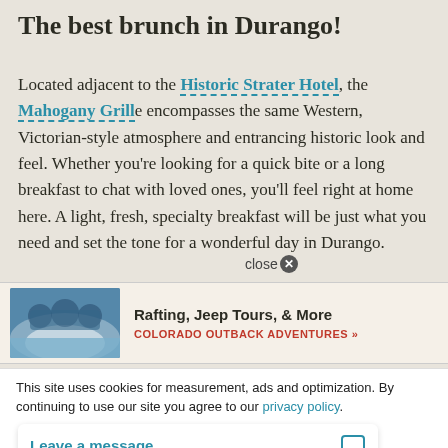The best brunch in Durango!
Located adjacent to the Historic Strater Hotel, the Mahogany Grill encompasses the same Western, Victorian-style atmosphere and entrancing historic look and feel. Whether you’re looking for a quick bite or a long breakfast to chat with loved ones, you’ll feel right at home here. A light, fresh, specialty breakfast will be just what you need and set the tone for a wonderful day in Durango.
[Figure (other): Advertisement banner for Colorado Outback Adventures showing rafting photo with text 'Rafting, Jeep Tours, & More' and 'COLORADO OUTBACK ADVENTURES >>']
close
This site uses cookies for measurement, ads and optimization. By continuing to use our site you agree to our privacy policy.
Accept
and fried eggs topped with plenty of warmed salsa. When at Mahogany, b                                                 add sharing for the
Leave a message